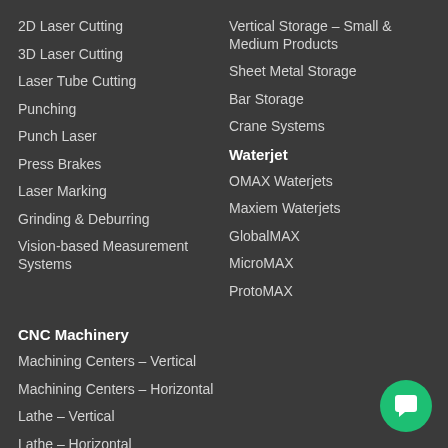2D Laser Cutting
3D Laser Cutting
Laser Tube Cutting
Punching
Punch Laser
Press Brakes
Laser Marking
Grinding & Deburring
Vision-based Measurement Systems
Vertical Storage – Small & Medium Products
Sheet Metal Storage
Bar Storage
Crane Systems
Waterjet
OMAX Waterjets
Maxiem Waterjets
GlobalMAX
MicroMAX
ProtoMAX
CNC Machinery
Machining Centers – Vertical
Machining Centers – Horizontal
Lathe – Vertical
Lathe – Horizontal